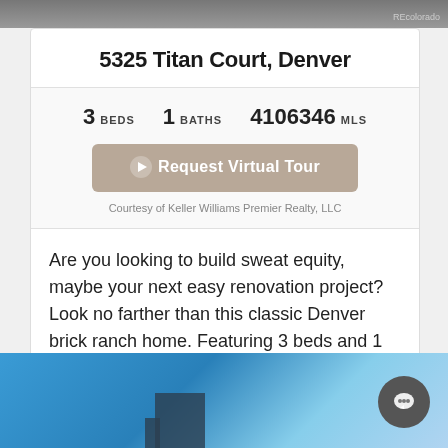[Figure (photo): Top portion of a property photo, clipped, showing dark exterior]
5325 Titan Court, Denver
3 BEDS  1 BATHS  4106346 MLS
Request Virtual Tour
Courtesy of Keller Williams Premier Realty, LLC
Are you looking to build sweat equity, maybe your next easy renovation project? Look no farther than this classic Denver brick ranch home. Featuring 3 beds and 1 bath up...
[Figure (logo): RE/Colorado logo with orange dot]
[Figure (photo): Bottom portion showing blue sky and building exterior]